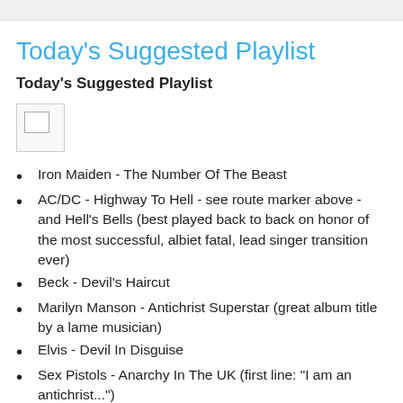Today's Suggested Playlist
Today's Suggested Playlist
[Figure (other): Broken/missing image placeholder]
Iron Maiden - The Number Of The Beast
AC/DC - Highway To Hell - see route marker above - and Hell's Bells (best played back to back on honor of the most successful, albiet fatal, lead singer transition ever)
Beck - Devil's Haircut
Marilyn Manson - Antichrist Superstar (great album title by a lame musician)
Elvis - Devil In Disguise
Sex Pistols - Anarchy In The UK (first line: "I am an antichrist...")
The soundtrack from the ORIGINAL Omen movie, you know, that satanic sounding mass choir